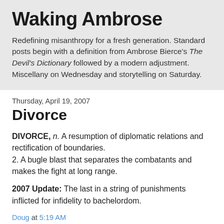Waking Ambrose
Redefining misanthropy for a fresh generation. Standard posts begin with a definition from Ambrose Bierce's The Devil's Dictionary followed by a modern adjustment. Miscellany on Wednesday and storytelling on Saturday.
Thursday, April 19, 2007
Divorce
DIVORCE, n. A resumption of diplomatic relations and rectification of boundaries.
2. A bugle blast that separates the combatants and makes the fight at long range.
2007 Update: The last in a string of punishments inflicted for infidelity to bachelordom.
Doug at 5:19 AM